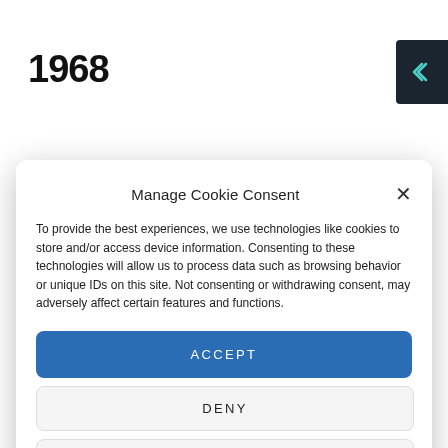1968
Manage Cookie Consent
To provide the best experiences, we use technologies like cookies to store and/or access device information. Consenting to these technologies will allow us to process data such as browsing behavior or unique IDs on this site. Not consenting or withdrawing consent, may adversely affect certain features and functions.
ACCEPT
DENY
VIEW PREFERENCES
Cookie Policy  Privacy Policy  Privacy Policy